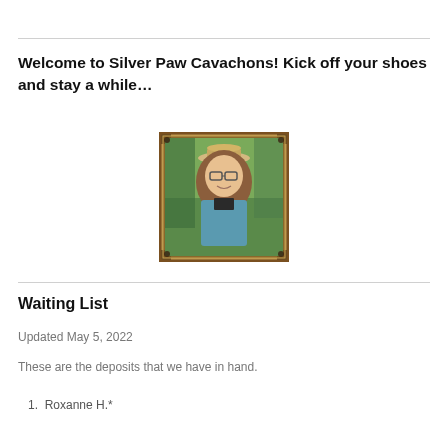Welcome to Silver Paw Cavachons! Kick off your shoes and stay a while…
[Figure (photo): Portrait photo of a woman wearing a cowboy hat and glasses with long wavy hair, outdoors with green trees in background, displayed with a decorative vintage-style border frame.]
Waiting List
Updated May 5, 2022
These are the deposits that we have in hand.
Roxanne H.*